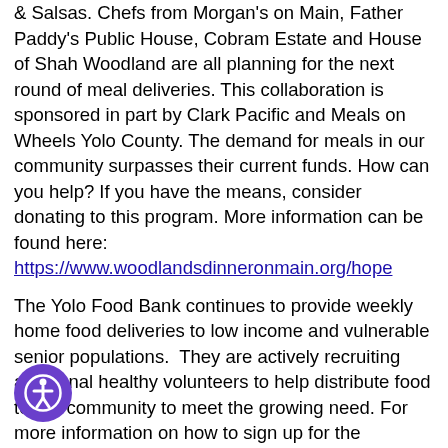& Salsas. Chefs from Morgan's on Main, Father Paddy's Public House, Cobram Estate and House of Shah Woodland are all planning for the next round of meal deliveries. This collaboration is sponsored in part by Clark Pacific and Meals on Wheels Yolo County. The demand for meals in our community surpasses their current funds. How can you help? If you have the means, consider donating to this program. More information can be found here: https://www.woodlandsdinneronmain.org/hope
The Yolo Food Bank continues to provide weekly home food deliveries to low income and vulnerable senior populations.  They are actively recruiting additional healthy volunteers to help distribute food to our community to meet the growing need. For more information on how to sign up for the program or to volunteer, visit their website: https://yolofoodbank.org/
ools have closed for the year, Pacific Coast ers collaborated with Woodland non-profit, Yolo arm to Fork to support their efforts in education by donating 550 volunteer hours and more food donations...
[Figure (illustration): Purple circular accessibility icon with white figure/person symbol in the center, positioned at bottom left of page]